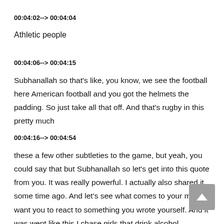00:04:02--> 00:04:04
Athletic people
00:04:06--> 00:04:15
Subhanallah so that's like, you know, we see the football here American football and you got the helmets the padding. So just take all that off. And that's rugby in this pretty much
00:04:16--> 00:04:54
these a few other subtleties to the game, but yeah, you could say that but Subhanallah so let's get into this quote from you. It was really powerful. I actually also shared it some time ago. And let's see what comes to your mind I want you to react to something you wrote yourself. And it was went like this I chase girls that drink alcohol